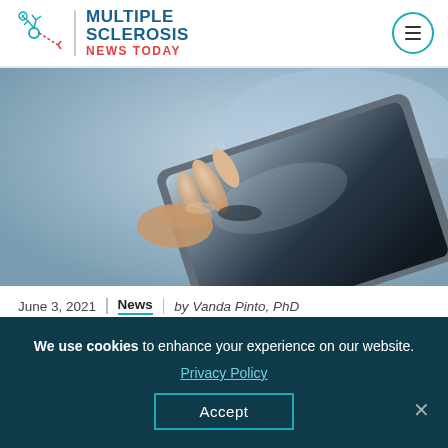[Figure (logo): Multiple Sclerosis News Today logo with neuron icon, site name in blue and red]
[Figure (photo): Person's hand touching a tablet screen, close-up, blue-tinted background]
June 3, 2021 | News | by Vanda Pinto, PhD
We use cookies to enhance your experience on our website. Privacy Policy Accept